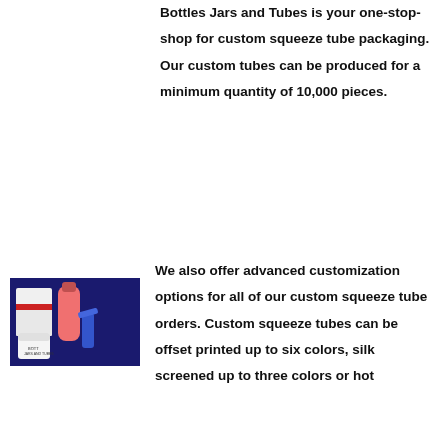Bottles Jars and Tubes is your one-stop-shop for custom squeeze tube packaging. Our custom tubes can be produced for a minimum quantity of 10,000 pieces.
[Figure (photo): Product photo showing custom squeeze tubes and containers on a dark blue background, with red, pink, and white tubes/jars and a blue ribbon wrap]
We also offer advanced customization options for all of our custom squeeze tube orders. Custom squeeze tubes can be offset printed up to six colors, silk screened up to three colors or hot